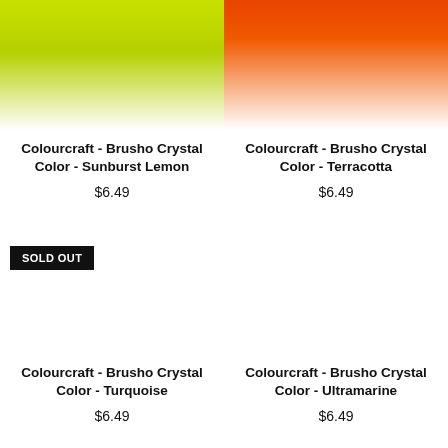[Figure (photo): Yellow-green color swatch for Brusho Crystal Color Sunburst Lemon]
Colourcraft - Brusho Crystal Color - Sunburst Lemon
$6.49
[Figure (photo): Orange-red color swatch for Brusho Crystal Color Terracotta]
Colourcraft - Brusho Crystal Color - Terracotta
$6.49
[Figure (photo): White/blank product image for Brusho Crystal Color Turquoise with SOLD OUT badge]
SOLD OUT
Colourcraft - Brusho Crystal Color - Turquoise
$6.49
[Figure (photo): White/blank product image for Brusho Crystal Color Ultramarine]
Colourcraft - Brusho Crystal Color - Ultramarine
$6.49